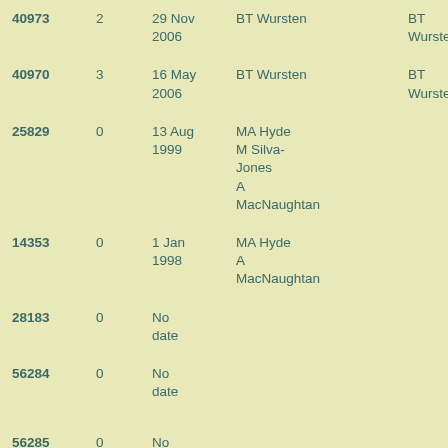| 40973 | 2 | 29 Nov 2006 | BT Wursten | BT Wursten |
| 40970 | 3 | 16 May 2006 | BT Wursten | BT Wursten |
| 25829 | 0 | 13 Aug 1999 | MA Hyde
M Silva-Jones
A MacNaughtan |  |
| 14353 | 0 | 1 Jan 1998 | MA Hyde
A MacNaughtan |  |
| 28183 | 0 | No date |  |  |
| 56284 | 0 | No date |  |  |
| 56285 | 0 | No date |  |  |
| 56286 | 0 | No date |  |  |